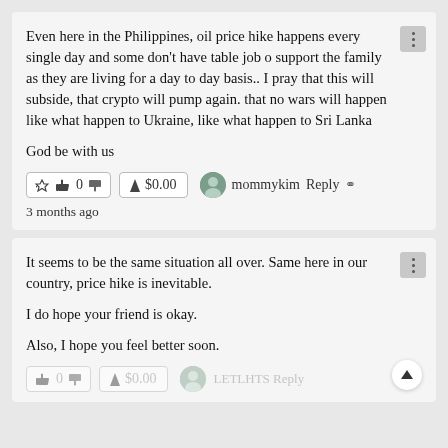Even here in the Philippines, oil price hike happens every single day and some don't have table job o support the family as they are living for a day to day basis.. I pray that this will subside, that crypto will pump again. that no wars will happen like what happen to Ukraine, like what happen to Sri Lanka

God be with us
0  $0.00  mommykim  Reply  3 months ago
It seems to be the same situation all over. Same here in our country, price hike is inevitable.

I do hope your friend is okay.

Also, I hope you feel better soon.